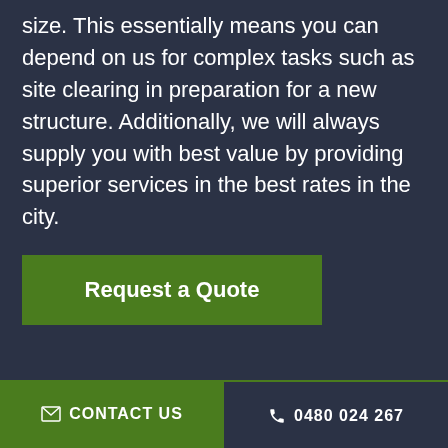size. This essentially means you can depend on us for complex tasks such as site clearing in preparation for a new structure. Additionally, we will always supply you with best value by providing superior services in the best rates in the city.
Request a Quote
✉ CONTACT US   ☎ 0480 024 267